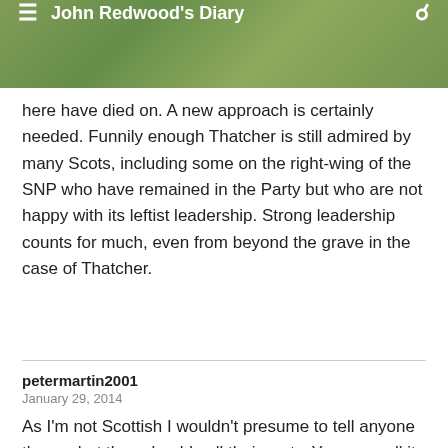John Redwood's Diary
here have died on. A new approach is certainly needed. Funnily enough Thatcher is still admired by many Scots, including some on the right-wing of the SNP who have remained in the Party but who are not happy with its leftist leadership. Strong leadership counts for much, even from beyond the grave in the case of Thatcher.
petermartin2001
January 29, 2014
As I'm not Scottish I wouldn't presume to tell anyone there what they should call their party. You can call it what you like. But changing the name of the (Scottish) Unionist Party to the Conservative Party was an example of exactly that ie disastrous English interference.